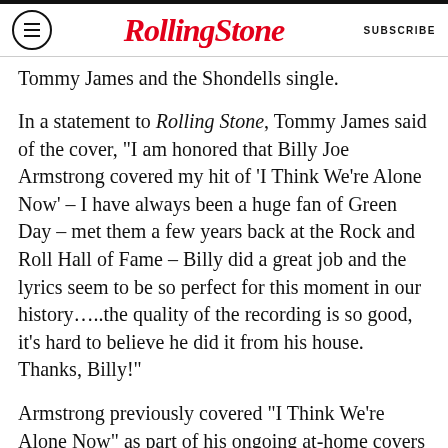Rolling Stone  SUBSCRIBE
Tommy James and the Shondells single.
In a statement to Rolling Stone, Tommy James said of the cover, “I am honored that Billy Joe Armstrong covered my hit of ‘I Think We’re Alone Now’ – I have always been a huge fan of Green Day – met them a few years back at the Rock and Roll Hall of Fame – Billy did a great job and the lyrics seem to be so perfect for this moment in our history…..the quality of the recording is so good, it’s hard to believe he did it from his house. Thanks, Billy!”
Armstrong previously covered “I Think We’re Alone Now” as part of his ongoing at-home covers series No Fun Mondays, which also featured the Green Day frontman performing “Manic Monday”